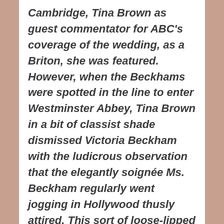Cambridge, Tina Brown as guest commentator for ABC's coverage of the wedding, as a Briton, she was featured. However, when the Beckhams were spotted in the line to enter Westminster Abbey, Tina Brown in a bit of classist shade dismissed Victoria Beckham with the ludicrous observation that the elegantly soignée Ms. Beckham regularly went jogging in Hollywood thusly attired. This sort of loose-lipped put-down does little for her credibility especially after the fiasco that was Talk magazine, which for being bankrolled by that sleazy creep,